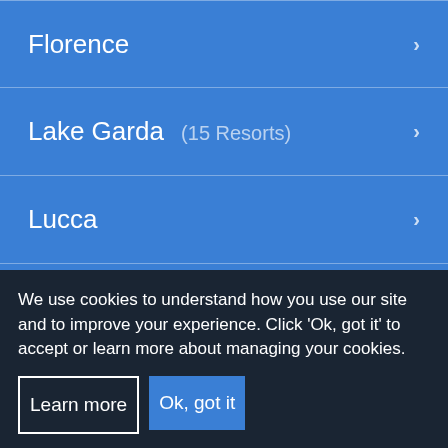Florence ›
Lake Garda (15 Resorts) ›
Lucca ›
Naples ›
Olbia ›
Pisa ›
Rome ›
We use cookies to understand how you use our site and to improve your experience. Click 'Ok, got it' to accept or learn more about managing your cookies.
Learn more
Ok, got it